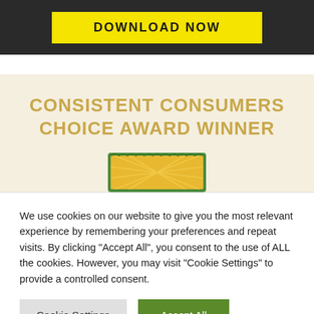[Figure (other): Dark banner with yellow 'DOWNLOAD NOW' button]
CONSISTENT CONSUMERS CHOICE AWARD WINNER
[Figure (illustration): Award badge with golden sunburst and green trim, partially visible]
We use cookies on our website to give you the most relevant experience by remembering your preferences and repeat visits. By clicking "Accept All", you consent to the use of ALL the cookies. However, you may visit "Cookie Settings" to provide a controlled consent.
Cookie Settings | Accept All